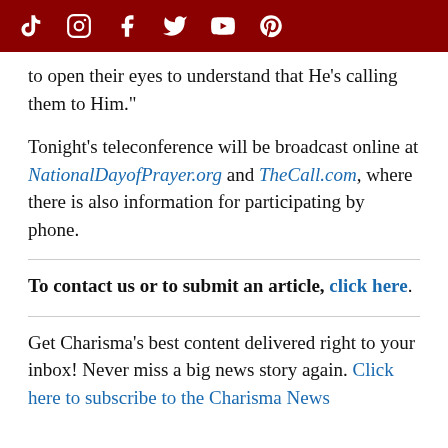[Social media icons: TikTok, Instagram, Facebook, Twitter, YouTube, Pinterest]
to open their eyes to understand that He's calling them to Him."
Tonight's teleconference will be broadcast online at NationalDayofPrayer.org and TheCall.com, where there is also information for participating by phone.
To contact us or to submit an article, click here.
Get Charisma's best content delivered right to your inbox! Never miss a big news story again. Click here to subscribe to the Charisma News newsletter.